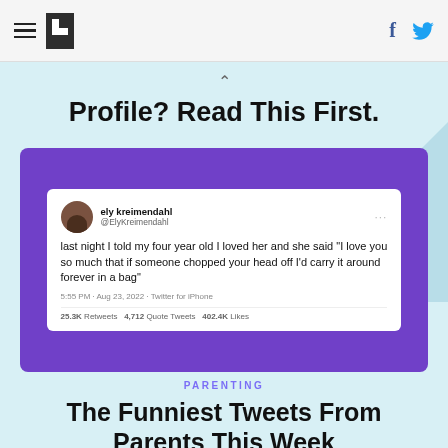HuffPost navigation bar with hamburger menu, logo, Facebook and Twitter icons
Profile? Read This First.
[Figure (screenshot): Screenshot of a tweet by ely kreimendahl (@ElyKreimendahl): "last night I told my four year old I loved her and she said 'I love you so much that if someone chopped your head off I'd carry it around forever in a bag'" — 5:55 PM · Aug 23, 2022 · Twitter for iPhone — 25.3K Retweets  4,712 Quote Tweets  402.4K Likes]
PARENTING
The Funniest Tweets From Parents This Week